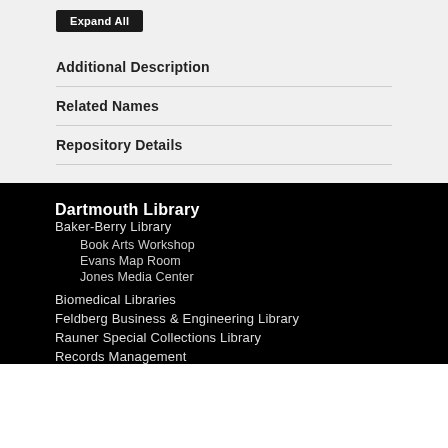Expand All
Additional Description
Related Names
Repository Details
Dartmouth Library
Baker-Berry Library
Book Arts Workshop
Evans Map Room
Jones Media Center
Biomedical Libraries
Feldberg Business & Engineering Library
Rauner Special Collections Library
Records Management